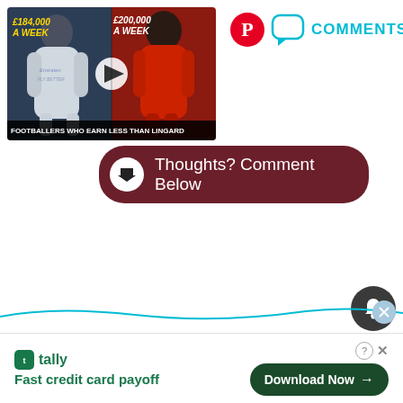[Figure (screenshot): YouTube-style video thumbnail showing two footballers with salary text overlaid: '£184,000 A WEEK' on left and '£200,000 A WEEK' on right, with caption 'FOOTBALLERS WHO EARN LESS THAN LINGARD']
COMMENTS
Thoughts? Comment Below
[Figure (screenshot): Advertisement bar at bottom: tally logo with 'Fast credit card payoff' text and 'Download Now' button]
Fast credit card payoff
Download Now